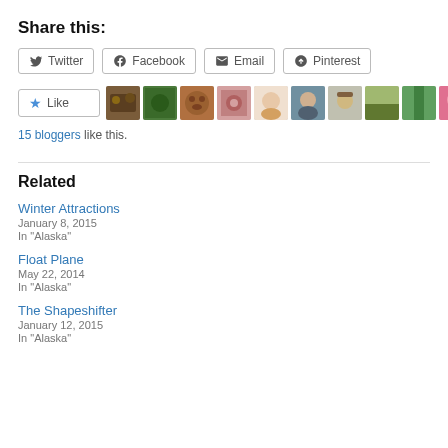Share this:
Twitter | Facebook | Email | Pinterest
[Figure (other): Like button with star icon and a strip of 11 blogger avatar thumbnails]
15 bloggers like this.
Related
Winter Attractions
January 8, 2015
In "Alaska"
Float Plane
May 22, 2014
In "Alaska"
The Shapeshifter
January 12, 2015
In "Alaska"